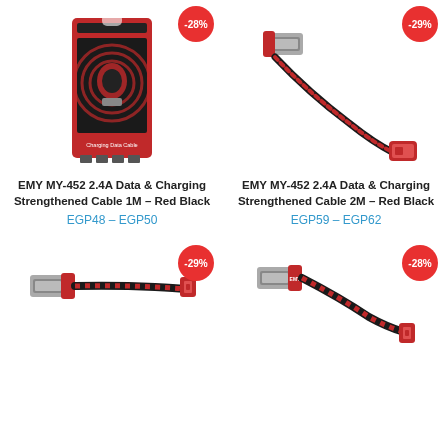[Figure (photo): EMY MY-452 charging cable in red/black retail box packaging]
[Figure (photo): EMY MY-452 red/black braided charging cable with USB connector, 2M]
EMY MY-452 2.4A Data & Charging Strengthened Cable 1M – Red Black
EGP48 – EGP50
EMY MY-452 2.4A Data & Charging Strengthened Cable 2M – Red Black
EGP59 – EGP62
[Figure (photo): EMY MY-452 red/black braided Lightning cable with USB connector]
[Figure (photo): EMY MY-452 red/black braided Lightning cable with USB connector, close-up]